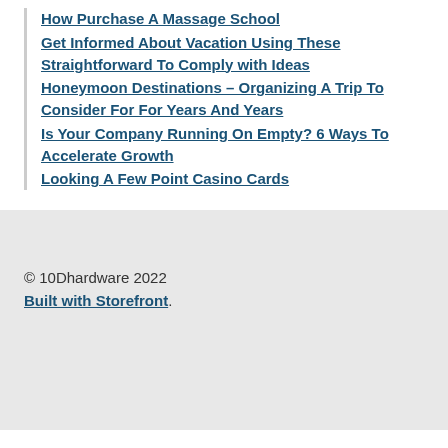How Purchase A Massage School
Get Informed About Vacation Using These Straightforward To Comply with Ideas
Honeymoon Destinations – Organizing A Trip To Consider For For Years And Years
Is Your Company Running On Empty? 6 Ways To Accelerate Growth
Looking A Few Point Casino Cards
© 10Dhardware 2022
Built with Storefront.